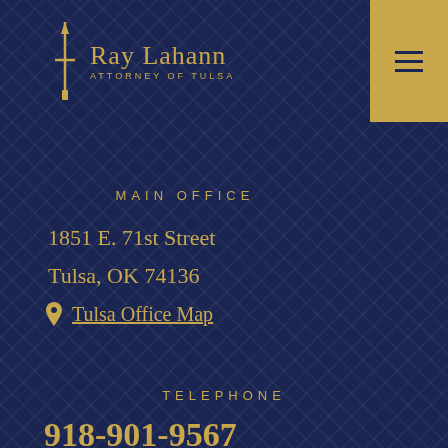[Figure (logo): Ray Lahann Attorney of Tulsa logo with sword icon and gold text on dark navy background]
MAIN OFFICE
1851 E. 71st Street
Tulsa, OK 74136
Tulsa Office Map
TELEPHONE
918-901-9567
FAX
918-493-1416